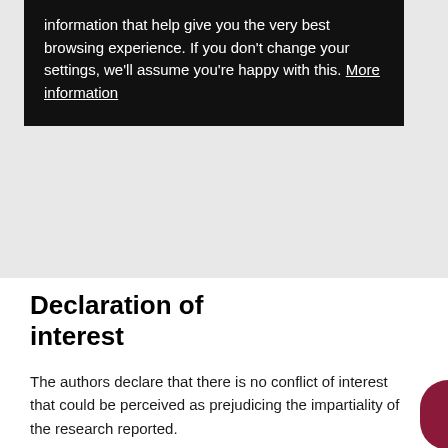information that help give you the very best browsing experience. If you don't change your settings, we'll assume you're happy with this. More information
Declaration of interest
The authors declare that there is no conflict of interest that could be perceived as prejudicing the impartiality of the research reported.
Funding
This research did not receive any specific grant from any funding agency in the public, commercial or not-for-profit sector.
Patient consent
Written consent has been obtained